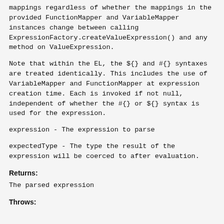mappings regardless of whether the mappings in the provided FunctionMapper and VariableMapper instances change between calling ExpressionFactory.createValueExpression() and any method on ValueExpression.
Note that within the EL, the ${} and #{} syntaxes are treated identically. This includes the use of VariableMapper and FunctionMapper at expression creation time. Each is invoked if not null, independent of whether the #{} or ${} syntax is used for the expression.
expression - The expression to parse
expectedType - The type the result of the expression will be coerced to after evaluation.
Returns:
The parsed expression
Throws: